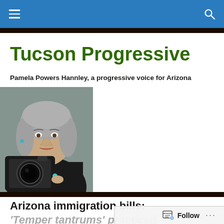Navigation bar with hamburger menu and search icon
Tucson Progressive
Pamela Powers Hannley, a progressive voice for Arizona
[Figure (photo): Woman with gray hair holding a camera, photographed in a mirror self-portrait style]
Arizona immigration bills: 'Temper tantrums' practiced…